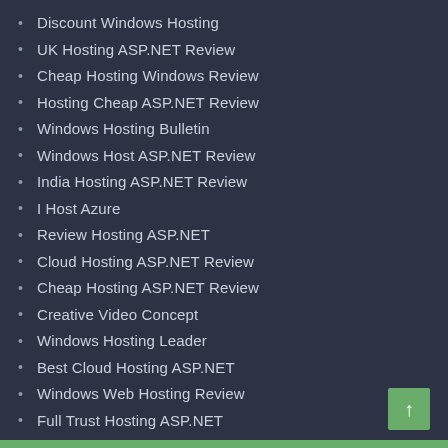Discount Windows Hosting
UK Hosting ASP.NET Review
Cheap Hosting Windows Review
Hosting Cheap ASP.NET Review
Windows Hosting Bulletin
Windows Host ASP.NET Review
India Hosting ASP.NET Review
I Host Azure
Review Hosting ASP.NET
Cloud Hosting ASP.NET Review
Cheap Hosting ASP.NET Review
Creative Video Concept
Windows Hosting Leader
Best Cloud Hosting ASP.NET
Windows Web Hosting Review
Full Trust Hosting ASP.NET
Cheap Australia ASP.NET Hosting
Cheap ASP.NET Hosting Review
Best ASP.NET Hosting Review
ASP.NET Core Hosting Review